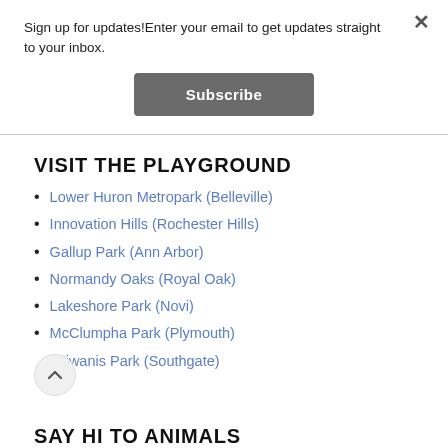Sign up for updates!Enter your email to get updates straight to your inbox.
Subscribe
VISIT THE PLAYGROUND
Lower Huron Metropark (Belleville)
Innovation Hills (Rochester Hills)
Gallup Park (Ann Arbor)
Normandy Oaks (Royal Oak)
Lakeshore Park (Novi)
McClumpha Park (Plymouth)
Kiwanis Park (Southgate)
SAY HI TO ANIMALS